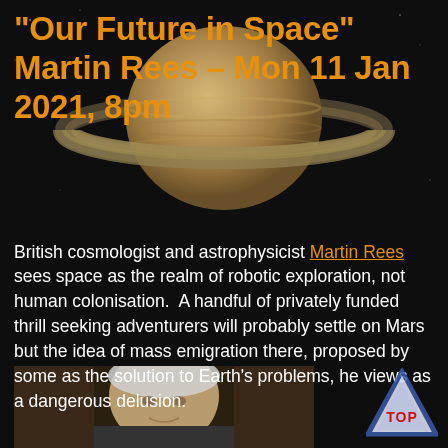[Figure (illustration): Saturn planet with rings against dark space background]
“Our Future in Space” Martin Rees – Mon 11 Jan 2021, 8pm
British cosmologist and astrophysicist Martin Rees sees space as the realm of robotic exploration, not human colonisation. A handful of privately funded thrill seeking adventurers will probably settle on Mars but the idea of mass emigration there, proposed by some as the solution to Earth’s problems, he views as a dangerous delusion.
[Figure (photo): Portrait photo of Martin Rees]
[Figure (logo): TOP triangle logo in blue and red]